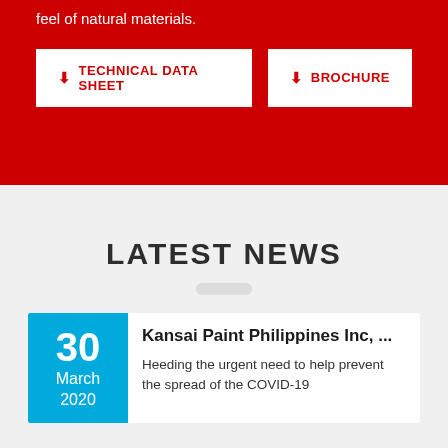feel of natural materials.
TECHNICAL DATA SHEET
BROCHURE
LATEST NEWS
30 March 2020
Kansai Paint Philippines Inc, ...
Heeding the urgent need to help prevent the spread of the COVID-19